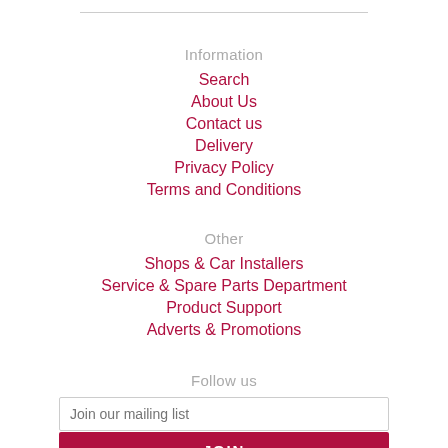Information
Search
About Us
Contact us
Delivery
Privacy Policy
Terms and Conditions
Other
Shops & Car Installers
Service & Spare Parts Department
Product Support
Adverts & Promotions
Follow us
Join our mailing list
JOIN